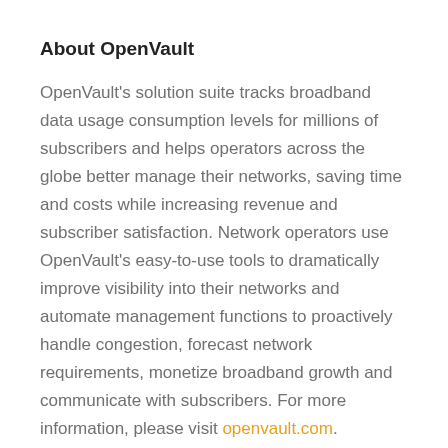About OpenVault
OpenVault's solution suite tracks broadband data usage consumption levels for millions of subscribers and helps operators across the globe better manage their networks, saving time and costs while increasing revenue and subscriber satisfaction. Network operators use OpenVault's easy-to-use tools to dramatically improve visibility into their networks and automate management functions to proactively handle congestion, forecast network requirements, monetize broadband growth and communicate with subscribers. For more information, please visit openvault.com.
For media inquiries, please contact: